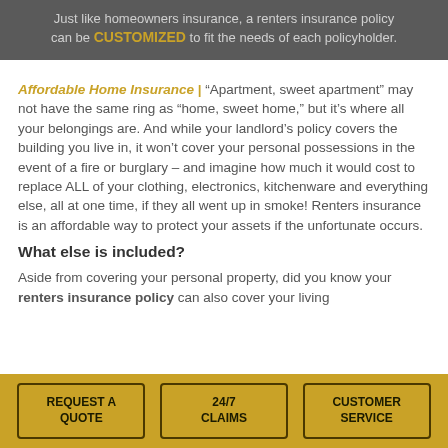[Figure (photo): Dark banner with text about renters insurance being customizable, with 'CUSTOMIZED' highlighted in gold]
Affordable Home Insurance | “Apartment, sweet apartment” may not have the same ring as “home, sweet home,” but it’s where all your belongings are. And while your landlord’s policy covers the building you live in, it won’t cover your personal possessions in the event of a fire or burglary – and imagine how much it would cost to replace ALL of your clothing, electronics, kitchenware and everything else, all at one time, if they all went up in smoke! Renters insurance is an affordable way to protect your assets if the unfortunate occurs.
What else is included?
Aside from covering your personal property, did you know your renters insurance policy can also cover your living
REQUEST A QUOTE | 24/7 CLAIMS | CUSTOMER SERVICE